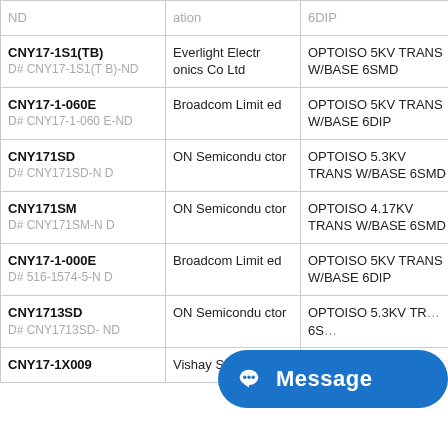| Part | Manufacturer | Description | Stock |
| --- | --- | --- | --- |
| ND | ation | 6DIP |  |
| CNY17-1S1(TB)
D# CNY17-1S1(TB)-ND | Everlight Electronics Co Ltd | OPTOISO 5KV TRANS W/BASE 6SMD | 0 |
| CNY17-1-060E
D# CNY17-1-060E-ND | Broadcom Limited | OPTOISO 5KV TRANS W/BASE 6DIP | 0 |
| CNY171SD
D# CNY171SD-ND | ON Semiconductor | OPTOISO 5.3KV TRANS W/BASE 6SMD | 0 |
| CNY171SM
D# CNY171SM-ND | ON Semiconductor | OPTOISO 4.17KV TRANS W/BASE 6SMD | 1076 |
| CNY17-1-000E
D# 516-1574-5-ND | Broadcom Limited | OPTOISO 5KV TRANS W/BASE 6DIP | 2460 |
| CNY1713SD
D# CNY1713SD-ND | ON Semiconductor | OPTOISO 5.3KV TRANS W/BASE 6SMD | 0 |
| CNY17-1X009 | Vishay Semico | OPTOISO 5KV | 0 |